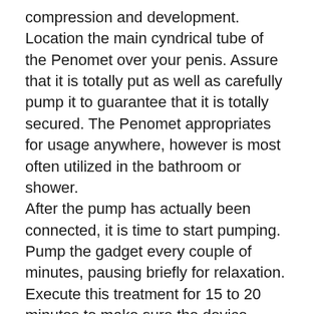compression and development. Location the main cyndrical tube of the Penomet over your penis. Assure that it is totally put as well as carefully pump it to guarantee that it is totally secured. The Penomet appropriates for usage anywhere, however is most often utilized in the bathroom or shower.
After the pump has actually been connected, it is time to start pumping. Pump the gadget every couple of minutes, pausing briefly for relaxation. Execute this treatment for 15 to 20 minutes to make sure the device functions correctly.
To remove the tool as well as watch your outcomes, press the valve at the end of the cylinder as well as pull it off.
As easy to use as the Penomet pump is, it